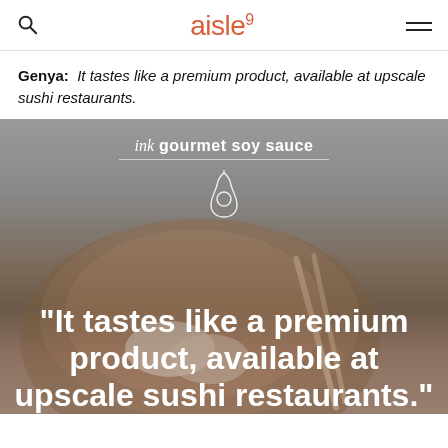aisle 9
Genya: It tastes like a premium product, available at upscale sushi restaurants.
[Figure (photo): Product photo: ink gourmet soy sauce brand overlay on a background of a wooden bowl with sushi/dumplings. Large white quote text reads: “It tastes like a premium product, available at upscale sushi restaurants.”]